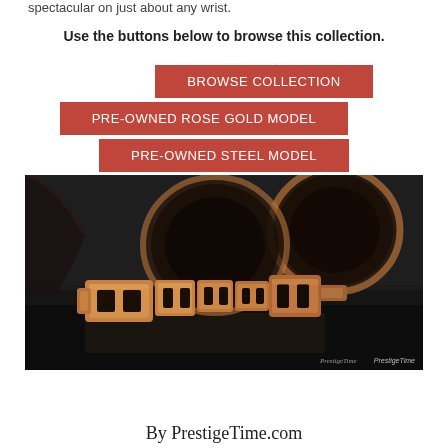spectacular on just about any wrist.
Use the buttons below to browse this collection.
BROWSE COLLECTION
PRE-OWNED ROSE GOLD MODEL
PRE-OWNED STEEL MODEL
[Figure (photo): Close-up photo of luxury rose gold watches with gold clasp bracelet on dark background, PrestigeTime.com watermark]
By PrestigeTime.com